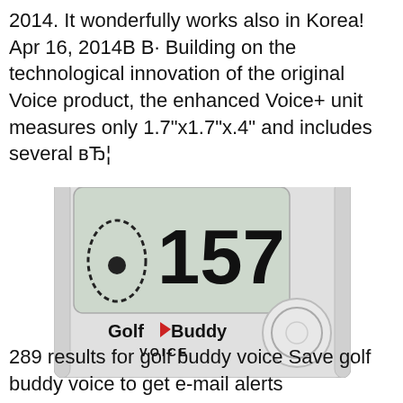2014. It wonderfully works also in Korea! Apr 16, 2014В В· Building on the technological innovation of the original Voice product, the enhanced Voice+ unit measures only 1.7"x1.7"x.4" and includes several вЂ¦
[Figure (photo): Close-up photo of a GolfBuddy Voice GPS device showing a display screen with the number 157 and a golf hole icon, with the GolfBuddy VOICE logo and a circular button visible]
289 results for golf buddy voice Save golf buddy voice to get e-mail alerts